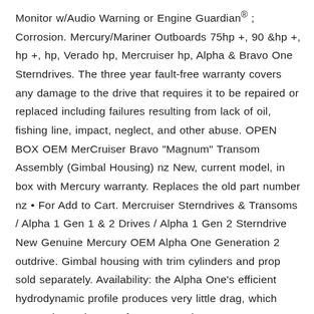Monitor w/Audio Warning or Engine Guardian® ; Corrosion. Mercury/Mariner Outboards 75hp +, 90 &hp +, hp +, hp, Verado hp, Mercruiser hp, Alpha & Bravo One Sterndrives. The three year fault-free warranty covers any damage to the drive that requires it to be repaired or replaced including failures resulting from lack of oil, fishing line, impact, neglect, and other abuse. OPEN BOX OEM MerCruiser Bravo "Magnum" Transom Assembly (Gimbal Housing) nz New, current model, in box with Mercury warranty. Replaces the old part number nz • For Add to Cart. Mercruiser Sterndrives & Transoms / Alpha 1 Gen 1 & 2 Drives / Alpha 1 Gen 2 Sterndrive New Genuine Mercury OEM Alpha One Generation 2 outdrive. Gimbal housing with trim cylinders and prop sold separately. Availability: the Alpha One's efficient hydrodynamic profile produces very little drag, which means better boat performance and.